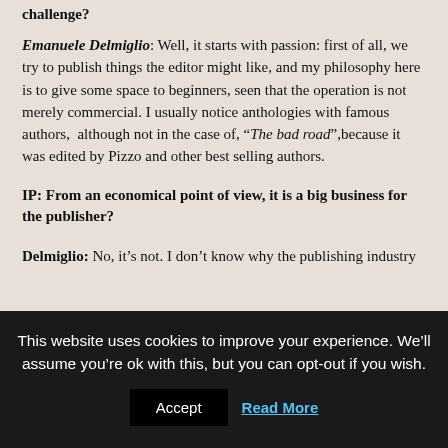challenge?
Emanuele Delmiglio: Well, it starts with passion: first of all, we try to publish things the editor might like, and my philosophy here is to give some space to beginners, seen that the operation is not merely commercial. I usually notice anthologies with famous authors,  although not in the case of, “The bad road”,because it was edited by Pizzo and other best selling authors.
IP: From an economical point of view, it is a big business for the publisher?
Delmiglio: No, it’s not. I don’t know why the publishing industry
This website uses cookies to improve your experience. We’ll assume you’re ok with this, but you can opt-out if you wish.
Accept
Read More